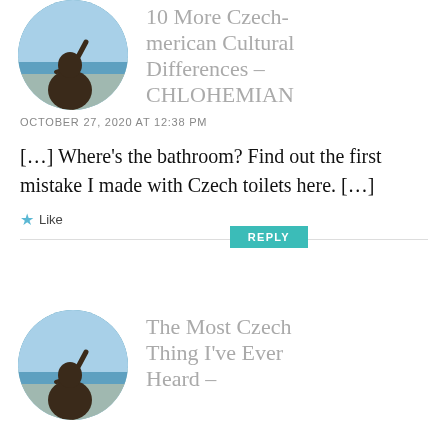[Figure (photo): Circular avatar photo of a person with arm raised, city and sea visible in background]
10 More Czech-merican Cultural Differences – CHLOHEMIAN
OCTOBER 27, 2020 AT 12:38 PM
[…] Where's the bathroom? Find out the first mistake I made with Czech toilets here. […]
Like
REPLY
[Figure (photo): Circular avatar photo of a person with arm raised, city and sea visible in background]
The Most Czech Thing I've Ever Heard –